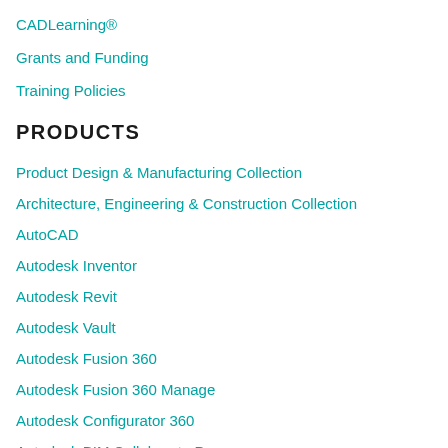CADLearning®
Grants and Funding
Training Policies
PRODUCTS
Product Design & Manufacturing Collection
Architecture, Engineering & Construction Collection
AutoCAD
Autodesk Inventor
Autodesk Revit
Autodesk Vault
Autodesk Fusion 360
Autodesk Fusion 360 Manage
Autodesk Configurator 360
Autodesk BIM Collaborate Pro
Autodesk …